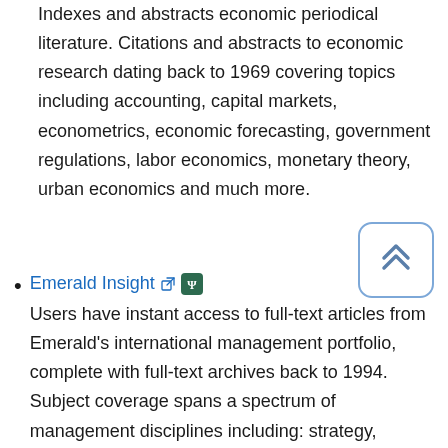Indexes and abstracts economic periodical literature. Citations and abstracts to economic research dating back to 1969 covering topics including accounting, capital markets, econometrics, economic forecasting, government regulations, labor economics, monetary theory, urban economics and much more.
[Figure (other): Back to top button: rounded rectangle with double upward chevron arrows in blue]
Emerald Insight — Users have instant access to full-text articles from Emerald's international management portfolio, complete with full-text archives back to 1994. Subject coverage spans a spectrum of management disciplines including: strategy, leadership, marketing and human resource